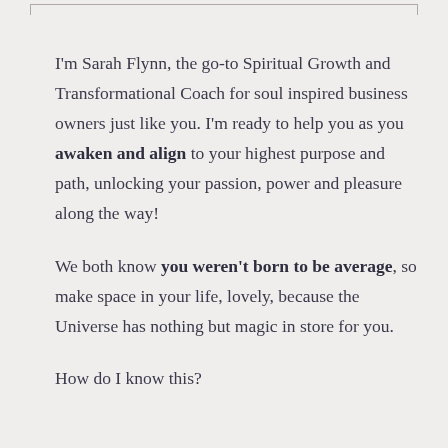I'm Sarah Flynn, the go-to Spiritual Growth and Transformational Coach for soul inspired business owners just like you. I'm ready to help you as you awaken and align to your highest purpose and path, unlocking your passion, power and pleasure along the way!

We both know you weren't born to be average, so make space in your life, lovely, because the Universe has nothing but magic in store for you.

How do I know this?